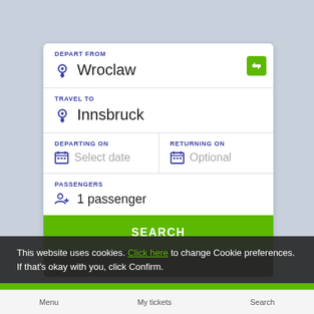[Figure (screenshot): Travel search form UI with fields: Depart From (Wroclaw), Travel To (Innsbruck), Departing On (Select date), Returning On (Optional), Passengers (1 passenger), Search button, cookie consent banner with Confirm button, and bottom nav bar with Menu, My tickets, Search.]